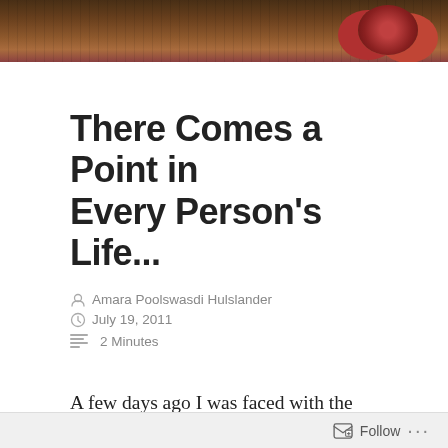[Figure (photo): Hero image showing wooden background with red berries or fruit in top right corner]
There Comes a Point in Every Person's Life...
Amara Poolswasdi Hulslander   July 19, 2011   2 Minutes
A few days ago I was faced with the mentality of my former self.
I came across a moment where I was comparing myself to someone who I couldn't compare to. It wasn't an
Follow